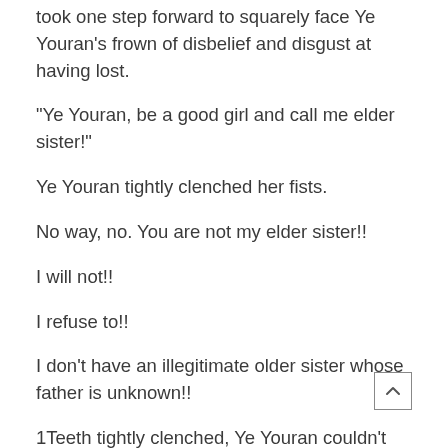took one step forward to squarely face Ye Youran's frown of disbelief and disgust at having lost.
“Ye Youran, be a good girl and call me elder sister!”
Ye Youran tightly clenched her fists.
No way, no. You are not my elder sister!!
I will not!!
I refuse to!!
I don’t have an illegitimate older sister whose father is unknown!!
1Teeth tightly clenched, Ye Youran couldn’t bring herself to say elder sister. The embarrassment of losing the bet had caused Ye Youran’s face to immediately turn a burning red.